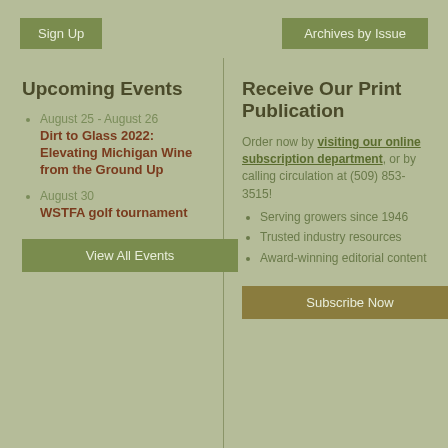Sign Up
Archives by Issue
Upcoming Events
August 25 - August 26
Dirt to Glass 2022: Elevating Michigan Wine from the Ground Up
August 30
WSTFA golf tournament
View All Events
Receive Our Print Publication
Order now by visiting our online subscription department, or by calling circulation at (509) 853-3515!
Serving growers since 1946
Trusted industry resources
Award-winning editorial content
Subscribe Now